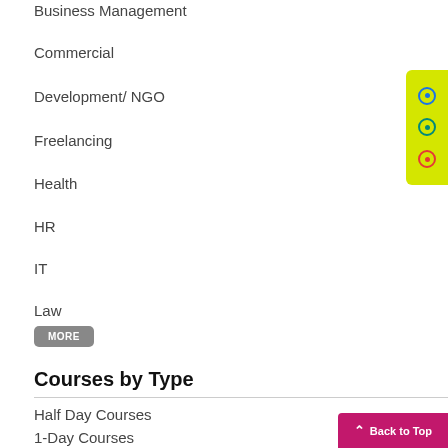Business Management
Commercial
Development/ NGO
Freelancing
Health
HR
IT
Law
MORE
Courses by Type
Half Day Courses
1-Day Courses
2-Days Courses